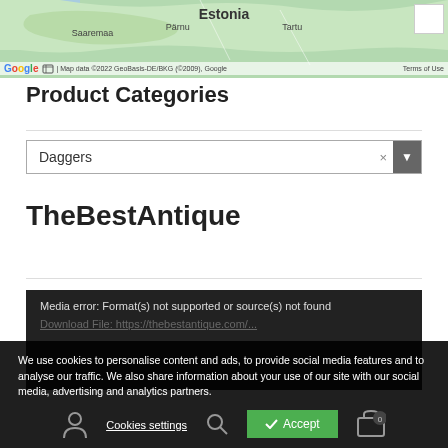[Figure (map): Google Map showing Estonia with labels for Saaremaa, Pärnu, Tartu, and Estonia. Includes Google logo, map data attribution and Terms of Use.]
Product Categories
[Figure (screenshot): Dropdown selector showing 'Daggers' with an X clear button and a dropdown arrow]
TheBestAntique
Media error: Format(s) not supported or source(s) not found
We use cookies to personalise content and ads, to provide social media features and to analyse our traffic. We also share information about your use of our site with our social media, advertising and analytics partners.